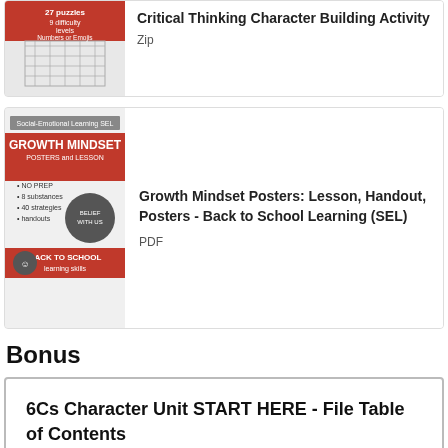[Figure (illustration): Thumbnail image of a puzzle activity sheet with text: 27 puzzles, 9 difficulty levels, Numbers or Emojis]
Critical Thinking Character Building Activity
Zip
[Figure (illustration): Thumbnail image of Growth Mindset Posters and Lesson product cover with red banner, NO PREP, 8 substances, 40 strategies, handouts, Back to School learning skills]
Growth Mindset Posters: Lesson, Handout, Posters - Back to School Learning (SEL)
PDF
Bonus
6Cs Character Unit START HERE - File Table of Contents